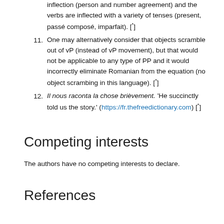10. inflection (person and number agreement) and the verbs are inflected with a variety of tenses (present, passé composé, imparfait). [^]
11. One may alternatively consider that objects scramble out of vP (instead of vP movement), but that would not be applicable to any type of PP and it would incorrectly eliminate Romanian from the equation (no object scrambing in this language). [^]
12. Il nous raconta la chose brièvement. 'He succinctly told us the story.' (https://fr.thefreedictionary.com) [^]
Competing interests
The authors have no competing interests to declare.
References